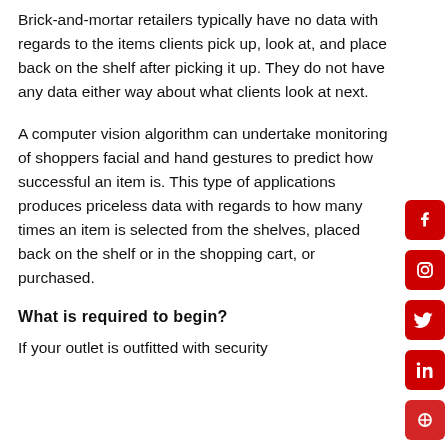Brick-and-mortar retailers typically have no data with regards to the items clients pick up, look at, and place back on the shelf after picking it up. They do not have any data either way about what clients look at next.
A computer vision algorithm can undertake monitoring of shoppers facial and hand gestures to predict how successful an item is. This type of applications produces priceless data with regards to how many times an item is selected from the shelves, placed back on the shelf or in the shopping cart, or purchased.
What is required to begin?
If your outlet is outfitted with security
[Figure (other): Social media icons bar on the right side: Facebook, Instagram, Twitter, LinkedIn, and a partially visible fifth icon — all in red square rounded buttons]